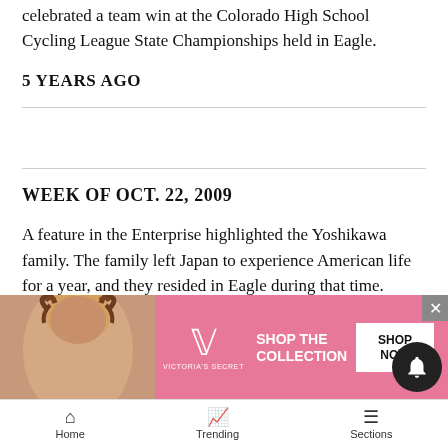celebrated a team win at the Colorado High School Cycling League State Championships held in Eagle.
5 YEARS AGO
WEEK OF OCT. 22, 2009
A feature in the Enterprise highlighted the Yoshikawa family. The family left Japan to experience American life for a year, and they resided in Eagle during that time.
The town of Eagle made the decision to allow medical marijuana dispensaries after a split vote.
THE C... TO A...
[Figure (screenshot): Victoria's Secret advertisement banner with model photo, VS logo, 'SHOP THE COLLECTION' text, and 'SHOP NOW' button]
Home  Trending  Sections